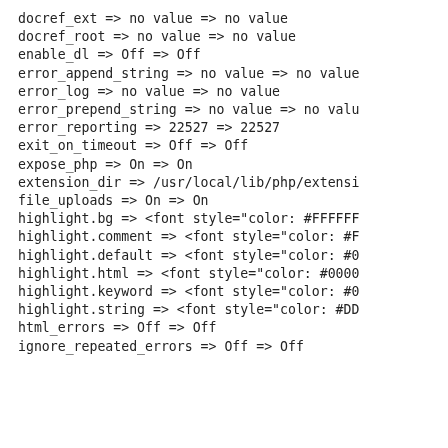docref_ext => no value => no value
docref_root => no value => no value
enable_dl => Off => Off
error_append_string => no value => no value
error_log => no value => no value
error_prepend_string => no value => no valu
error_reporting => 22527 => 22527
exit_on_timeout => Off => Off
expose_php => On => On
extension_dir => /usr/local/lib/php/extensi
file_uploads => On => On
highlight.bg => <font style="color: #FFFFFF
highlight.comment => <font style="color: #F
highlight.default => <font style="color: #0
highlight.html => <font style="color: #0000
highlight.keyword => <font style="color: #0
highlight.string => <font style="color: #DD
html_errors => Off => Off
ignore_repeated_errors => Off => Off